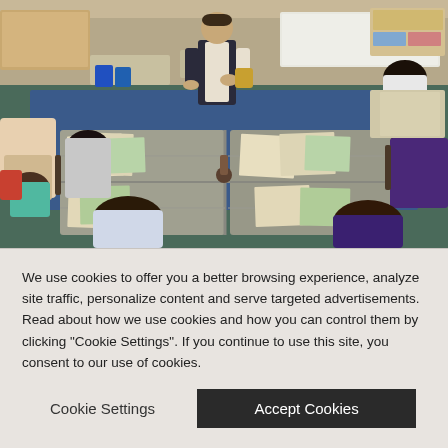[Figure (photo): Classroom scene with students sitting around a large table with papers and documents spread on it. A person in historical costume (vest and white shirt) stands at the head of the table. Classroom setting with desks, chairs, and a whiteboard visible in the background.]
MUSEUM TO GO
We use cookies to offer you a better browsing experience, analyze site traffic, personalize content and serve targeted advertisements. Read about how we use cookies and how you can control them by clicking "Cookie Settings". If you continue to use this site, you consent to our use of cookies.